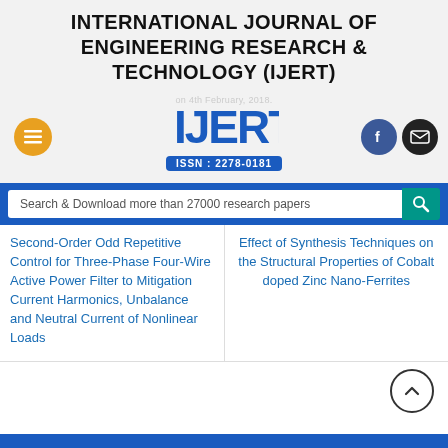INTERNATIONAL JOURNAL OF ENGINEERING RESEARCH & TECHNOLOGY (IJERT)
[Figure (logo): IJERT logo with text IJERT and ISSN : 2278-0181, flanked by orange menu button, Facebook and email icons]
Search & Download more than 27000 research papers
Second-Order Odd Repetitive Control for Three-Phase Four-Wire Active Power Filter to Mitigation Current Harmonics, Unbalance and Neutral Current of Nonlinear Loads
Effect of Synthesis Techniques on the Structural Properties of Cobalt doped Zinc Nano-Ferrites